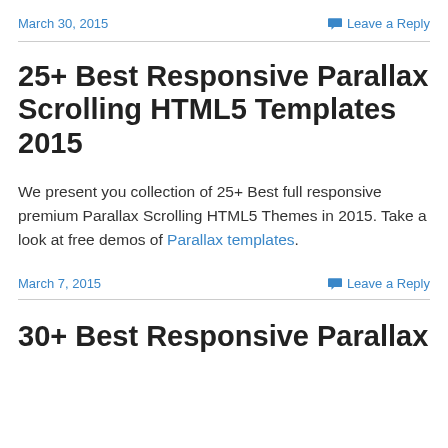March 30, 2015    Leave a Reply
25+ Best Responsive Parallax Scrolling HTML5 Templates 2015
We present you collection of 25+ Best full responsive premium Parallax Scrolling HTML5 Themes in 2015. Take a look at free demos of Parallax templates.
March 7, 2015    Leave a Reply
30+ Best Responsive Parallax